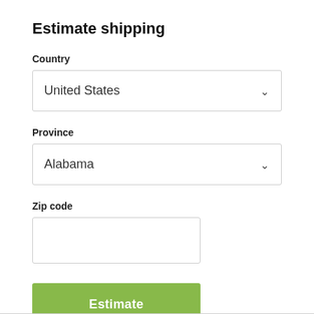Estimate shipping
Country
United States
Province
Alabama
Zip code
Estimate